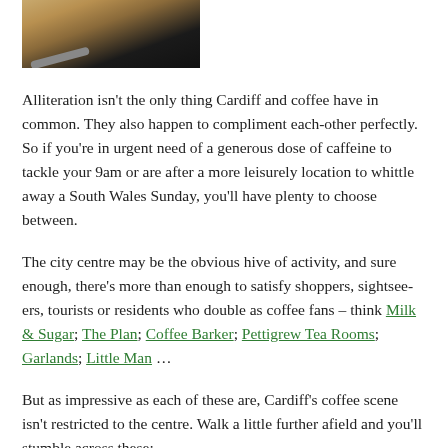[Figure (photo): Top portion of a photograph showing a coffee cup (latte/cappuccino) from above on a dark saucer, with a spoon visible, against a dark background.]
Alliteration isn't the only thing Cardiff and coffee have in common. They also happen to compliment each-other perfectly. So if you're in urgent need of a generous dose of caffeine to tackle your 9am or are after a more leisurely location to whittle away a South Wales Sunday, you'll have plenty to choose between.
The city centre may be the obvious hive of activity, and sure enough, there's more than enough to satisfy shoppers, sightsee-ers, tourists or residents who double as coffee fans – think Milk & Sugar; The Plan; Coffee Barker; Pettigrew Tea Rooms; Garlands; Little Man …
But as impressive as each of these are, Cardiff's coffee scene isn't restricted to the centre. Walk a little further afield and you'll stumble across these: